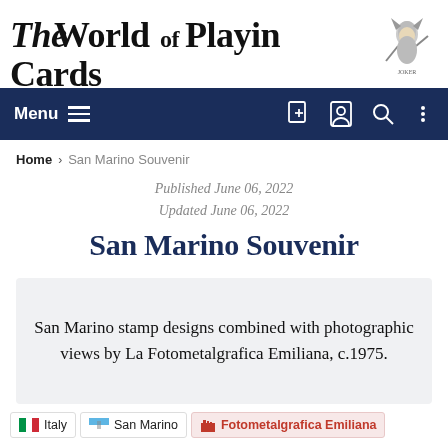The World of Playing Cards
[Figure (logo): Decorative logo figure of a joker/jester character on the right side of the header]
[Figure (screenshot): Navigation bar with Menu (hamburger icon) on left and icons (add document, user, search, more) on right, dark navy blue background]
Home › San Marino Souvenir
Published June 06, 2022
Updated June 06, 2022
San Marino Souvenir
San Marino stamp designs combined with photographic views by La Fotometalgrafica Emiliana, c.1975.
Italy   San Marino   Fotometalgrafica Emiliana